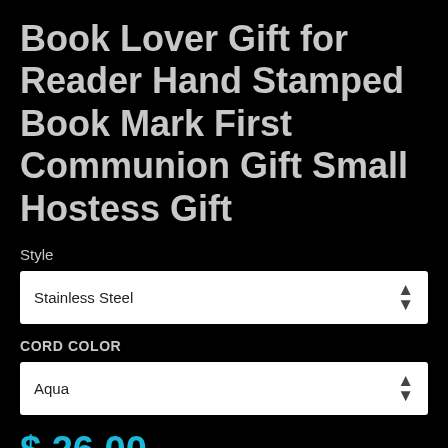Book Lover Gift for Reader Hand Stamped Book Mark First Communion Gift Small Hostess Gift
Style
Stainless Steel
CORD COLOR
Aqua
$ 26.00
Quantity  -  1  +